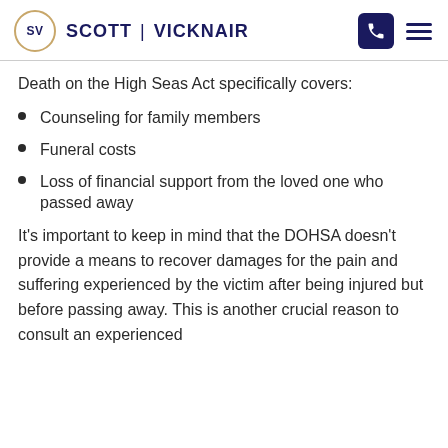SV SCOTT | VICKNAIR
Death on the High Seas Act specifically covers:
Counseling for family members
Funeral costs
Loss of financial support from the loved one who passed away
It's important to keep in mind that the DOHSA doesn't provide a means to recover damages for the pain and suffering experienced by the victim after being injured but before passing away. This is another crucial reason to consult an experienced